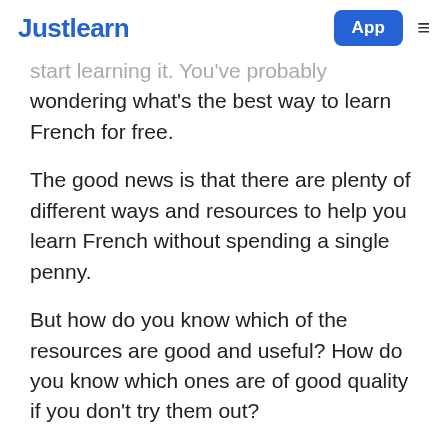Justlearn  App  ≡
start learning it. You've probably wondering what's the best way to learn French for free.
The good news is that there are plenty of different ways and resources to help you learn French without spending a single penny.
But how do you know which of the resources are good and useful? How do you know which ones are of good quality if you don't try them out?